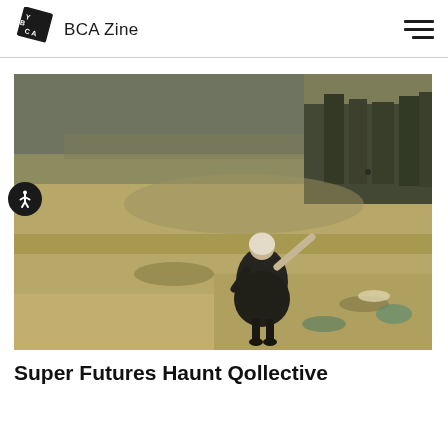YBCA Zine
[Figure (photo): A person in dark clothing standing with one arm raised, pointing upward, in an open sandy landscape with trees or figures in the background. The image has a muted, vintage color tone.]
Super Futures Haunt Qollective